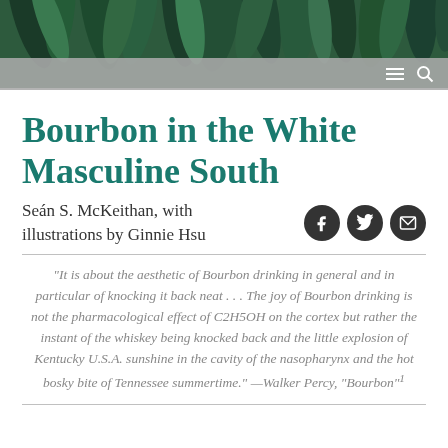[Figure (illustration): Header illustration of green tropical/corn leaves against a dark green background, decorative banner style]
Bourbon in the White Masculine South
Seán S. McKeithan, with illustrations by Ginnie Hsu
"It is about the aesthetic of Bourbon drinking in general and in particular of knocking it back neat . . . The joy of Bourbon drinking is not the pharmacological effect of C2H5OH on the cortex but rather the instant of the whiskey being knocked back and the little explosion of Kentucky U.S.A. sunshine in the cavity of the nasopharynx and the hot bosky bite of Tennessee summertime." —Walker Percy, "Bourbon"1